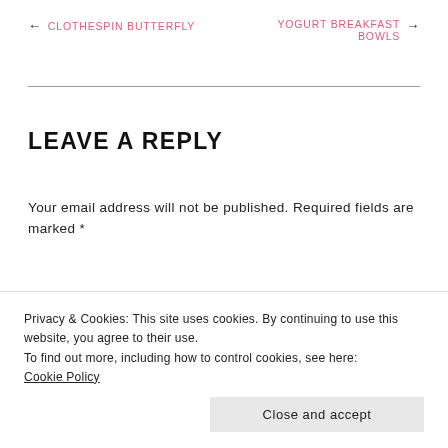← CLOTHESPIN BUTTERFLY
YOGURT BREAKFAST BOWLS →
LEAVE A REPLY
Your email address will not be published. Required fields are marked *
Comment *
Privacy & Cookies: This site uses cookies. By continuing to use this website, you agree to their use.
To find out more, including how to control cookies, see here:
Cookie Policy
Close and accept